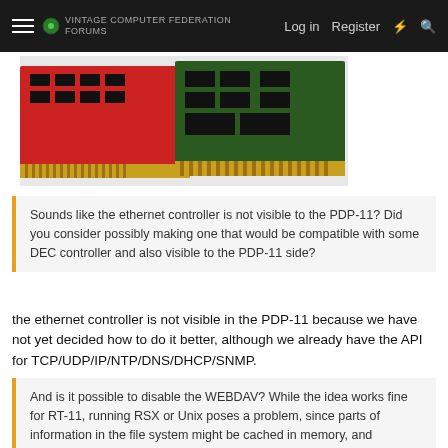Log in  Register
[Figure (photo): Photo of red and green circuit boards/expansion cards with gold connectors]
Sounds like the ethernet controller is not visible to the PDP-11? Did you consider possibly making one that would be compatible with some DEC controller and also visible to the PDP-11 side?
the ethernet controller is not visible in the PDP-11 because we have not yet decided how to do it better, although we already have the API for TCP/UDP/IP/NTP/DNS/DHCP/SNMP.
And is it possible to disable the WEBDAV? While the idea works fine for RT-11, running RSX or Unix poses a problem, since parts of information in the file system might be cached in memory, and updating the file system in parallel with system operation in that case might cause serious file system brokenness...